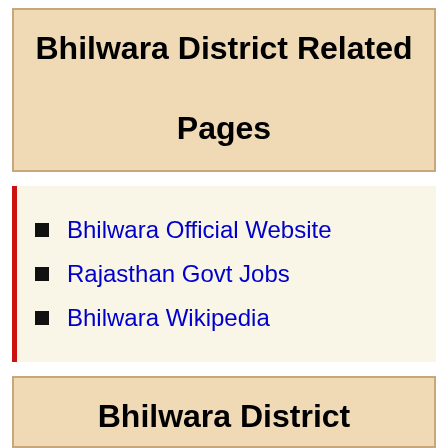Bhilwara District Related Pages
Bhilwara Official Website
Rajasthan Govt Jobs
Bhilwara Wikipedia
Bhilwara District